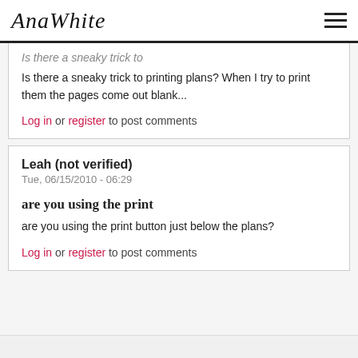AnaWhite [logo] [hamburger menu]
Is there a sneaky trick to printing plans? When I try to print them the pages come out blank...
Log in or register to post comments
Leah (not verified)
Tue, 06/15/2010 - 06:29
are you using the print
are you using the print button just below the plans?
Log in or register to post comments